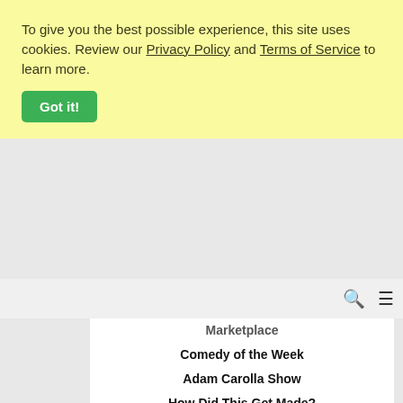To give you the best possible experience, this site uses cookies. Review our Privacy Policy and Terms of Service to learn more.
Got it!
Marketplace
Comedy of the Week
Adam Carolla Show
How Did This Get Made?
Doug Loves Movies
The Economist Podcasts
TED Talks Daily
NBC Nightly News with Lester Holt
CBC News: The World This Hour
Daily Boost Motivation and Coaching
Radiolab
Science Friday
This American Life